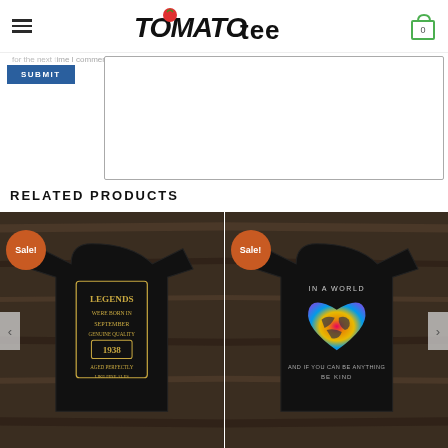Tomato Tee - navigation header with hamburger menu and cart icon showing 0
for the next time I comment.
SUBMIT
RELATED PRODUCTS
[Figure (photo): Black t-shirt on wooden background with 'LEGENDS WERE BORN IN SEPTEMBER GENUINE QUALITY 1938 AGED PERFECTLY' graphic. Orange 'Sale!' badge in top-left corner.]
[Figure (photo): Black t-shirt on wooden background with heart-shaped world map in colorful watercolor and text 'IN A WORLD AND IF YOU CAN BE ANYTHING BE KIND'. Orange 'Sale!' badge in top-left corner.]